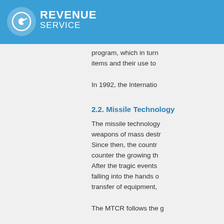REVENUE SERVICE
program, which in turn items and their use to
In 1992, the Internatio
2.2. Missile Technology
The missile technology weapons of mass destr Since then, the countr counter the growing th After the tragic events falling into the hands o transfer of equipment,
The MTCR follows the g